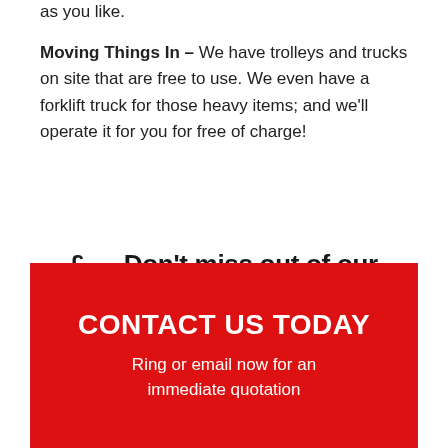as you like.
Moving Things In – We have trolleys and trucks on site that are free to use. We even have a forklift truck for those heavy items; and we'll operate it for you for free of charge!
£ — Don't miss out of our fantastic money-saving deal — £
CONTACT US TODAY
Ring or email now for an immediate quotation